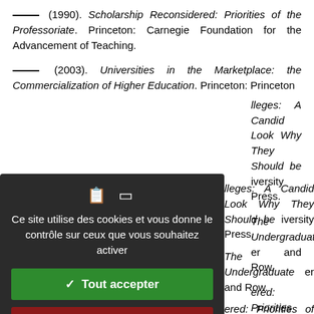——— (1990). Scholarship Reconsidered: Priorities of the Professoriate. Princeton: Carnegie Foundation for the Advancement of Teaching.
——— (2003). Universities in the Marketplace: the Commercialization of Higher Education. Princeton: Princeton [University Press].
[...] lleges: A Candid Look [at] Why They Should be [...] iversity Press.
[...] The Undergraduate [...] er and Row.
[...] ered: Priorities of the [...] Foundation fot the [...]
[...] ryn Masterson (2009). [...]20 Years, Outpacing [...] ion, April 24.
[...] nn L., and Rodney R. [...] Learn: Brain, Mind, [...]
[Figure (screenshot): Cookie consent overlay dialog with dark background. Contains icons, French text 'Ce site utilise des cookies et vous donne le contrôle sur ceux que vous souhaitez activer', green 'Tout accepter' button, red 'Tout refuser' button, white 'Personnaliser' button, and 'Politique de confidentialité' link.]